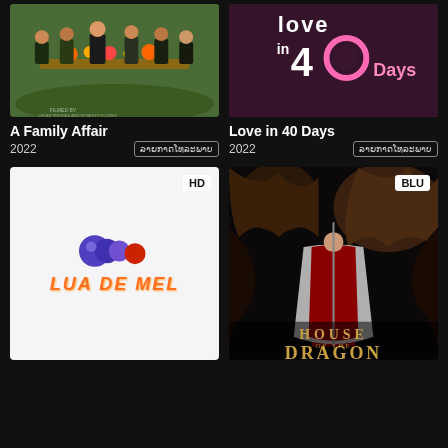[Figure (photo): Thumbnail for A Family Affair movie showing people outdoors with foliage]
[Figure (photo): Thumbnail for Love in 40 Days with pink and purple neon title text]
A Family Affair
Love in 40 Days
2022
ລາຍກາດໂທລະພາບ
2022
ລາຍກາດໂທລະພາບ
[Figure (logo): Lua De Mel logo on white background with colorful circles and orange italic text]
[Figure (photo): House of the Dragon poster showing woman in red dress standing before a large dragon with gold text at bottom]
HD
BLU